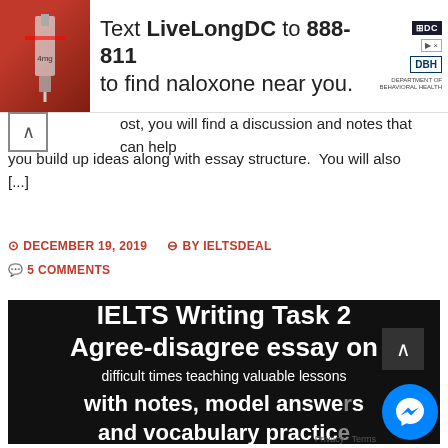[Figure (screenshot): Advertisement banner: Text LiveLongDC to 888-811 to find naloxone near you. With DC and DOH logos on the right, and a medication image on the left.]
ost, you will find a discussion and notes that can help you build up ideas along with essay structure.  You will also [...]
DECEMBER 19, 2019   BY IELTSDEAL   5 COMMENTS
[Figure (illustration): Black background image with white bold text: IELTS Writing Task 2 Agree-disagree essay on difficult times teaching valuable lessons with notes, model answers and vocabulary practice]